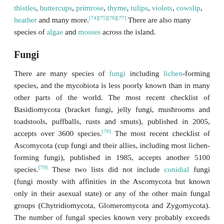thistles, buttercups, primrose, thyme, tulips, violets, cowslip, heather and many more.[74][75][76][77] There are also many species of algae and mosses across the island.
Fungi
There are many species of fungi including lichen-forming species, and the mycobiota is less poorly known than in many other parts of the world. The most recent checklist of Basidiomycota (bracket fungi, jelly fungi, mushrooms and toadstools, puffballs, rusts and smuts), published in 2005, accepts over 3600 species.[78] The most recent checklist of Ascomycota (cup fungi and their allies, including most lichen-forming fungi), published in 1985, accepts another 5100 species.[79] These two lists did not include conidial fungi (fungi mostly with affinities in the Ascomycota but known only in their asexual state) or any of the other main fungal groups (Chytridiomycota, Glomeromycota and Zygomycota). The number of fungal species known very probably exceeds 10,000. There is widespread agreement among mycologists that many others are yet to be discovered.
Demographics